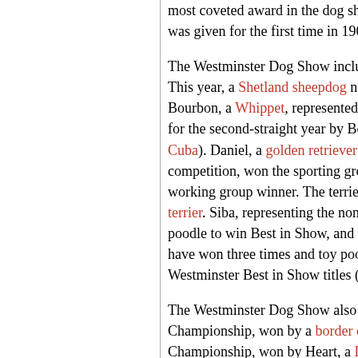most coveted award in the dog show w... was given for the first time in 1907.
The Westminster Dog Show includes m... This year, a Shetland sheepdog named C... Bourbon, a Whippet, represented the ho... for the second-straight year by Bono, a... Cuba). Daniel, a golden retriever and the... competition, won the sporting group. W... working group winner. The terrier gro... terrier. Siba, representing the non-spor... poodle to win Best in Show, and the fi... have won three times and toy poodles... Westminster Best in Show titles (15) t...
The Westminster Dog Show also inclu... Championship, won by a border collie n... Championship, won by Heart, a Labrac... named Johnathon Wehry claimed the H... aged 9-17) for guiding his cocker spanie...